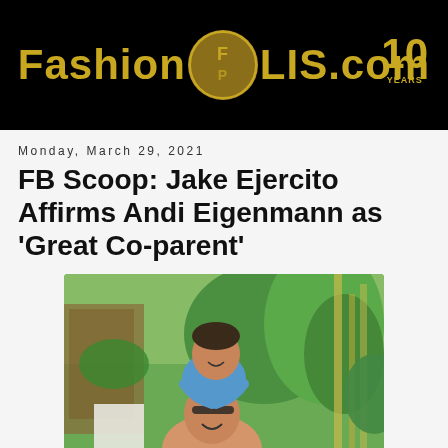[Figure (logo): FashionPULIS.com logo on black banner background with gold text and circular FP emblem, 10 years badge on right]
Monday, March 29, 2021
FB Scoop: Jake Ejercito Affirms Andi Eigenmann as 'Great Co-parent'
[Figure (photo): Photo of Jake Ejercito with a child (Ellie) on his back, smiling outdoors in a tropical setting with palm trees and bamboo in background]